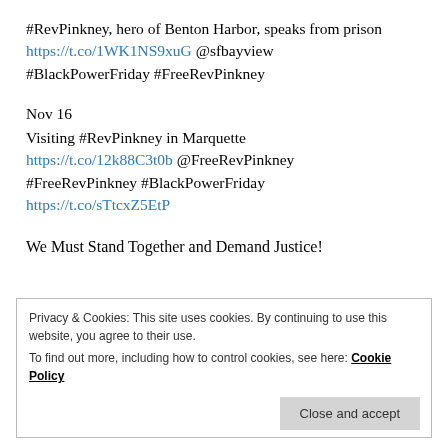#RevPinkney, hero of Benton Harbor, speaks from prison https://t.co/1WK1NS9xuG @sfbayview #BlackPowerFriday #FreeRevPinkney
Nov 16
Visiting #RevPinkney in Marquette https://t.co/12k88C3t0b @FreeRevPinkney #FreeRevPinkney #BlackPowerFriday https://t.co/sTtcxZ5EtP
We Must Stand Together and Demand Justice!
Privacy & Cookies: This site uses cookies. By continuing to use this website, you agree to their use.
To find out more, including how to control cookies, see here: Cookie Policy
Close and accept